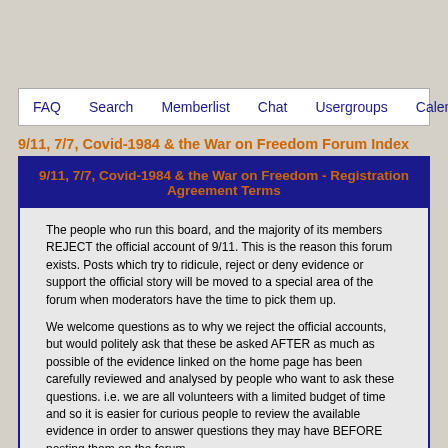FAQ  Search  Memberlist  Chat  Usergroups  Calendar  Regis
9/11, 7/7, Covid-1984 & the War on Freedom Forum Index
9/11, 7/7, Covid-1984 & the War on Freedom - Registration Agreement Terms
The people who run this board, and the majority of its members REJECT the official account of 9/11. This is the reason this forum exists. Posts which try to ridicule, reject or deny evidence or support the official story will be moved to a special area of the forum when moderators have the time to pick them up.
We welcome questions as to why we reject the official accounts, but would politely ask that these be asked AFTER as much as possible of the evidence linked on the home page has been carefully reviewed and analysed by people who want to ask these questions. i.e. we are all volunteers with a limited budget of time and so it is easier for curious people to review the available evidence in order to answer questions they may have BEFORE posting them on the forum.
If you are supporting the official account of 9/11, which we reject, your posts will be moved to a special area of the forum called "Critics' Corner" and those who are interested can debate with you there.